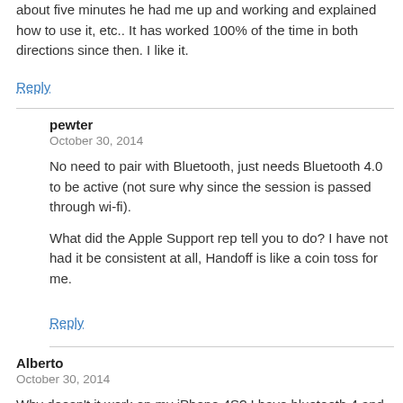about five minutes he had me up and working and explained how to use it, etc.. It has worked 100% of the time in both directions since then. I like it.
Reply
pewter
October 30, 2014
No need to pair with Bluetooth, just needs Bluetooth 4.0 to be active (not sure why since the session is passed through wi-fi).
What did the Apple Support rep tell you to do? I have not had it be consistent at all, Handoff is like a coin toss for me.
Reply
Alberto
October 30, 2014
Why doesn't it work on my iPhone 4S? I have bluetooth 4 and iOS 8.1…
Reply